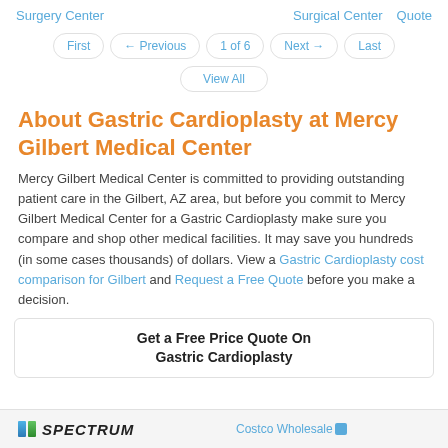Surgery Center | Surgical Center | Quote
First | ← Previous | 1 of 6 | Next → | Last
View All
About Gastric Cardioplasty at Mercy Gilbert Medical Center
Mercy Gilbert Medical Center is committed to providing outstanding patient care in the Gilbert, AZ area, but before you commit to Mercy Gilbert Medical Center for a Gastric Cardioplasty make sure you compare and shop other medical facilities. It may save you hundreds (in some cases thousands) of dollars. View a Gastric Cardioplasty cost comparison for Gilbert and Request a Free Quote before you make a decision.
Get a Free Price Quote On Gastric Cardioplasty
[Figure (screenshot): Bottom strip showing Spectrum and Costco Wholesale logos/links]